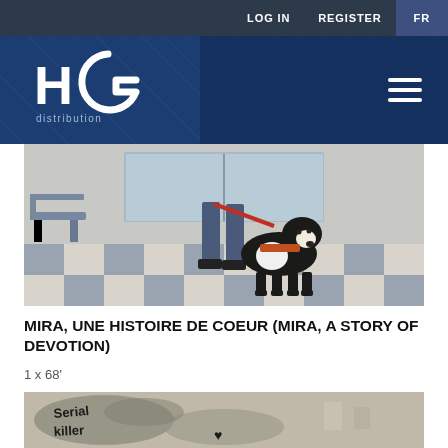LOG IN   REGISTER   FR
[Figure (logo): HG Distribution logo with stylized H and G letters in white on dark blue background, with 'distribution' text below]
[Figure (photo): Person holding a leash attached to a large black and white Bernese Mountain Dog in a hallway with checkered floor tiles]
MIRA, UNE HISTOIRE DE COEUR (MIRA, A STORY OF DEVOTION)
1 x 68'
[Figure (photo): Graffiti on a wall reading 'Serial killer' with various drawings and images on a grey painted wall]